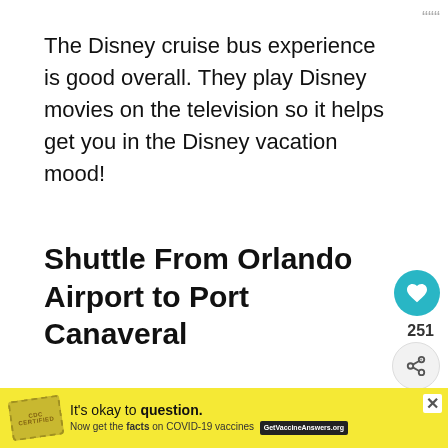The Disney cruise bus experience is good overall. They play Disney movies on the television so it helps get you in the Disney vacation mood!
Shuttle From Orlando Airport to Port Canaveral
[Figure (photo): Interior photo of Orlando Airport terminal ceiling with radiating architectural lines and recessed lights, with a 'What's Next' overlay showing Disney Wish Staterooms thumbnail]
[Figure (infographic): Yellow advertisement bar: It's okay to question. Now get the facts on COVID-19 vaccines. GetVaccineAnswers.org]